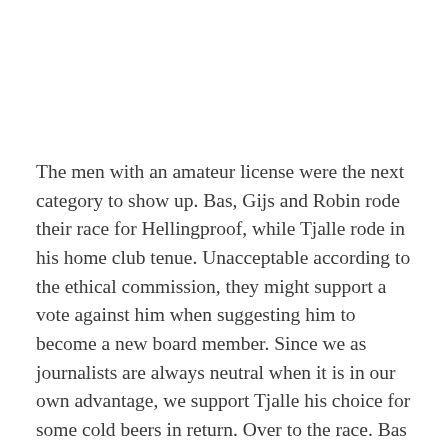The men with an amateur license were the next category to show up. Bas, Gijs and Robin rode their race for Hellingproof, while Tjalle rode in his home club tenue. Unacceptable according to the ethical commission, they might support a vote against him when suggesting him to become a new board member. Since we as journalists are always neutral when it is in our own advantage, we support Tjalle his choice for some cold beers in return. Over to the race. Bas showed his motivation to sign for the first attack of the day. It was not successful and the guys waited for their moment of fame. Tjalle and Bas decided to go on adventure together and escaped the peloton with five laps to go. They had a nice gap, but the peloton did not let them go. With two laps to go they